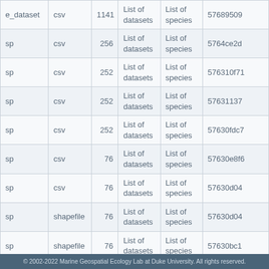| name | format | count | col4 | col5 | id |
| --- | --- | --- | --- | --- | --- |
| e_dataset | csv | 1141 | List of datasets | List of species | 57689509 |
| sp | csv | 256 | List of datasets | List of species | 5764ce2d |
| sp | csv | 252 | List of datasets | List of species | 576310f7 |
| sp | csv | 252 | List of datasets | List of species | 57631137 |
| sp | csv | 252 | List of datasets | List of species | 57630fdc |
| sp | csv | 76 | List of datasets | List of species | 57630e8f |
| sp | csv | 76 | List of datasets | List of species | 57630d04 |
| sp | shapefile | 76 | List of datasets | List of species | 57630d04 |
| sp | shapefile | 76 | List of datasets | List of species | 57630bc1 |
| sp | shapefile | 1141 | List of | List of | 5762c667 |
© 2002-2022 Marine Geospatial Ecology Lab at Duke University. All rights reserved.